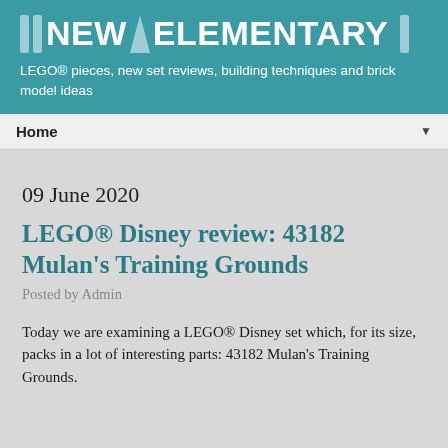NEW ELEMENTARY
LEGO® pieces, new set reviews, building techniques and brick model ideas
Home
09 June 2020
LEGO® Disney review: 43182 Mulan's Training Grounds
Posted by Admin
Today we are examining a LEGO® Disney set which, for its size, packs in a lot of interesting parts: 43182 Mulan's Training Grounds.